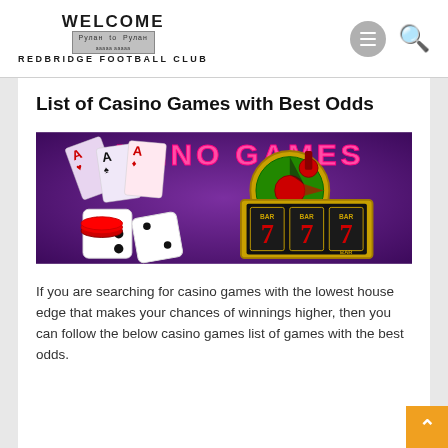WELCOME to REDBRIDGE FOOTBALL CLUB
List of Casino Games with Best Odds
[Figure (illustration): Colorful casino games promotional image showing playing cards, dice, roulette wheel, slot machine with 777 and BAR symbols, on a purple background with 'CASINO GAMES' text in pink.]
If you are searching for casino games with the lowest house edge that makes your chances of winnings higher, then you can follow the below casino games list of games with the best odds.